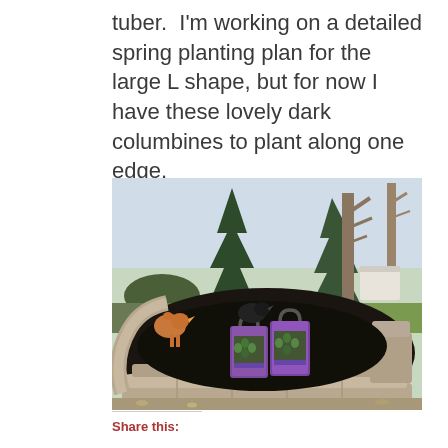tuber.  I'm working on a detailed spring planting plan for the large L shape, but for now I have these lovely dark columbines to plant along one edge.
[Figure (photo): A circular raised garden bed edged with stacked stone blocks, filled with dark mulch. Two chickens (one orange/brown, one dark) are visible in the bed. Two purple plant bags containing columbine seedlings sit in the center of the bed. The background shows a yard with pine trees and bare deciduous trees.]
Share this: